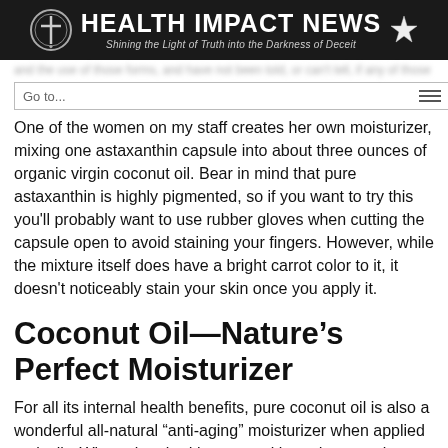HEALTH IMPACT NEWS — Shining the Light of Truth into the Darkness of Deceit
Go to...
One of the women on my staff creates her own moisturizer, mixing one astaxanthin capsule into about three ounces of organic virgin coconut oil. Bear in mind that pure astaxanthin is highly pigmented, so if you want to try this you'll probably want to use rubber gloves when cutting the capsule open to avoid staining your fingers. However, while the mixture itself does have a bright carrot color to it, it doesn't noticeably stain your skin once you apply it.
Coconut Oil—Nature's Perfect Moisturizer
For all its internal health benefits, pure coconut oil is also a wonderful all-natural “anti-aging” moisturizer when applied topically. When absorbed into your skin and connective